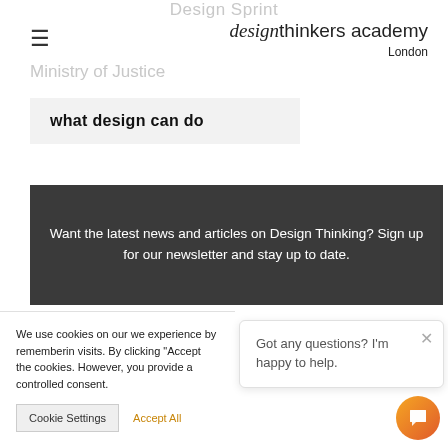Design Sprint
design thinkers academy London
Ministry of Justice
what design can do
Want the latest news and articles on Design Thinking? Sign up for our newsletter and stay up to date.
We use cookies on our we experience by rememberin visits. By clicking "Accept the cookies. However, you provide a controlled consent.
Got any questions? I'm happy to help.